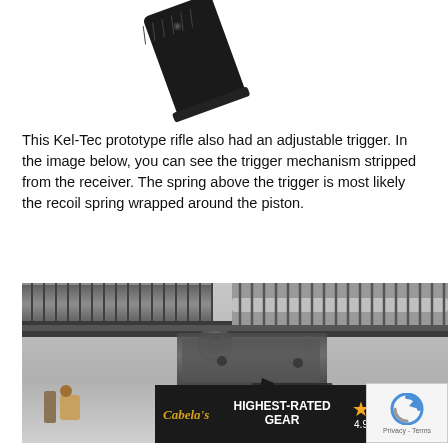[Figure (photo): A Kel-Tec rifle magazine/grip component shown at an angle on white background, top portion visible]
This Kel-Tec prototype rifle also had an adjustable trigger. In the image below, you can see the trigger mechanism stripped from the receiver. The spring above the trigger is most likely the recoil spring wrapped around the piston.
[Figure (photo): Close-up photograph of a Kel-Tec rifle trigger mechanism stripped from the receiver, showing a coil recoil spring wrapped around a piston rod, with trigger assembly components visible, on a grey background. An advertisement banner for Cabela's Highest-Rated Gear overlays the bottom of the image.]